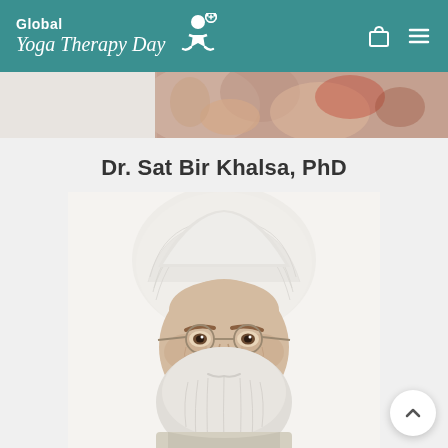Global Yoga Therapy Day
[Figure (photo): Partial hero image strip showing hands and colorful background at the top of the page]
Dr. Sat Bir Khalsa, PhD
[Figure (photo): Portrait photo of Dr. Sat Bir Khalsa, an older man wearing a white turban, round glasses, and a long white beard, smiling, set against a white background]